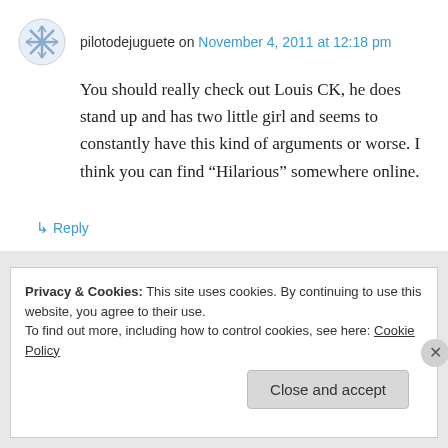pilotodejuguete on November 4, 2011 at 12:18 pm
You should really check out Louis CK, he does stand up and has two little girl and seems to constantly have this kind of arguments or worse. I think you can find “Hilarious” somewhere online.
↳ Reply
Privacy & Cookies: This site uses cookies. By continuing to use this website, you agree to their use.
To find out more, including how to control cookies, see here: Cookie Policy
Close and accept